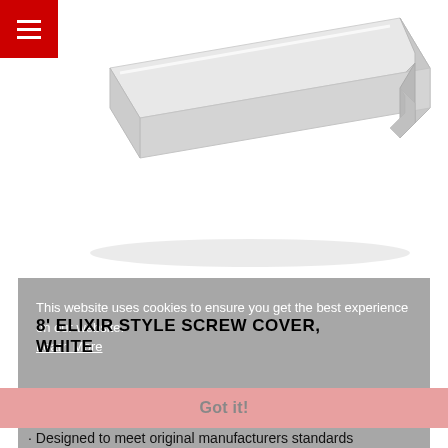[Figure (photo): White plastic 8-foot Elixir style screw cover, shown diagonally, channel-shaped profile visible at right end]
8' ELIXIR STYLE SCREW COVER, WHITE
This website uses cookies to ensure you get the best experience on our website.
Learn More
Designed to meet original manufacturers standards
Made of durable plastic for a long life and